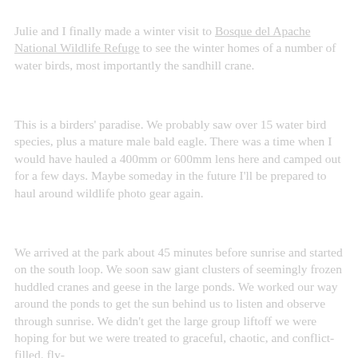Julie and I finally made a winter visit to Bosque del Apache National Wildlife Refuge to see the winter homes of a number of water birds, most importantly the sandhill crane.
This is a birders' paradise. We probably saw over 15 water bird species, plus a mature male bald eagle. There was a time when I would have hauled a 400mm or 600mm lens here and camped out for a few days. Maybe someday in the future I'll be prepared to haul around wildlife photo gear again.
We arrived at the park about 45 minutes before sunrise and started on the south loop. We soon saw giant clusters of seemingly frozen huddled cranes and geese in the large ponds. We worked our way around the ponds to get the sun behind us to listen and observe through sunrise. We didn't get the large group liftoff we were hoping for but we were treated to graceful, chaotic, and conflict-filled, fly-